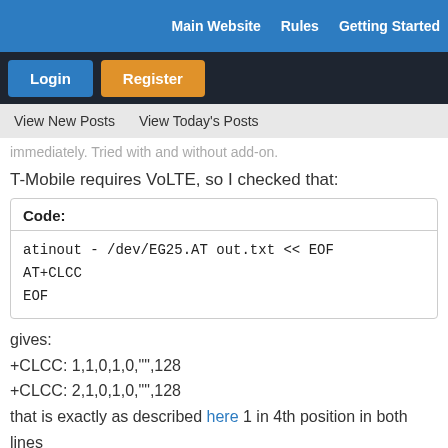Main Website   Rules   Getting Started
Login   Register
View New Posts   View Today's Posts
immediately. Tried with and without add-on.
T-Mobile requires VoLTE, so I checked that:
Code:
atinout - /dev/EG25.AT out.txt << EOF
AT+CLCC
EOF
gives:
+CLCC: 1,1,0,1,0,"",128
+CLCC: 2,1,0,1,0,"",128
that is exactly as described here 1 in 4th position in both lines
So please help me troubleshoot this: